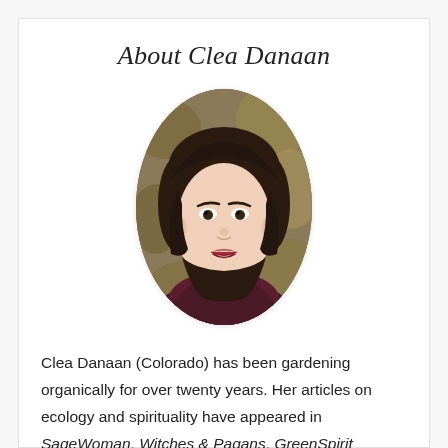About Clea Danaan
[Figure (photo): Oval portrait photo of Clea Danaan, a woman with shoulder-length dark brown hair, wearing a dark maroon/burgundy top, smiling, with a blurred outdoor background of foliage.]
Clea Danaan (Colorado) has been gardening organically for over twenty years. Her articles on ecology and spirituality have appeared in SageWoman, Witches & Pagans, GreenSpirit